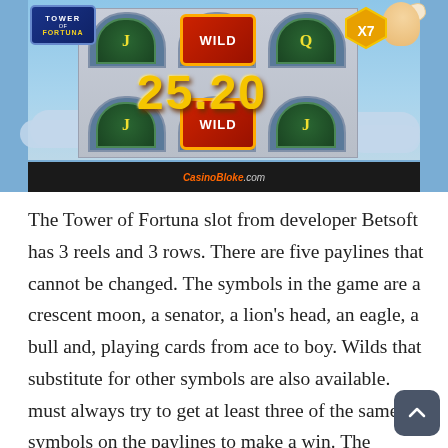[Figure (screenshot): Screenshot of the Tower of Fortuna slot game by Betsoft showing 3 reels with J, WILD, Q symbols on top row, a large win amount display of 25.20 in the middle, and J, WILD, J symbols on the bottom row. An X7 multiplier badge appears top right with a cherub/angel figure. A CasinoBloke.com watermark appears on the control bar at the bottom.]
The Tower of Fortuna slot from developer Betsoft has 3 reels and 3 rows. There are five paylines that cannot be changed. The symbols in the game are a crescent moon, a senator, a lion's head, an eagle, a bull and, playing cards from ace to boy. Wilds that substitute for other symbols are also available. must always try to get at least three of the same symbols on the paylines to make a win. The